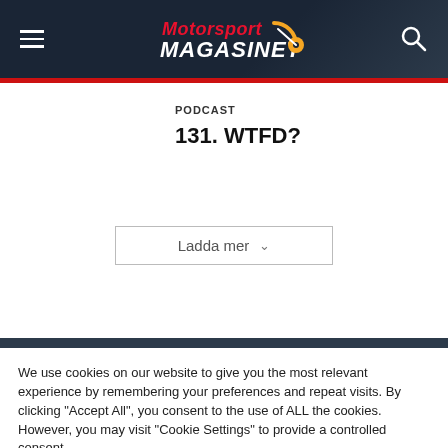Motorsport Magasinet
PODCAST
131. WTFD?
Ladda mer
We use cookies on our website to give you the most relevant experience by remembering your preferences and repeat visits. By clicking "Accept All", you consent to the use of ALL the cookies. However, you may visit "Cookie Settings" to provide a controlled consent.
Cookie Settings  Accept All